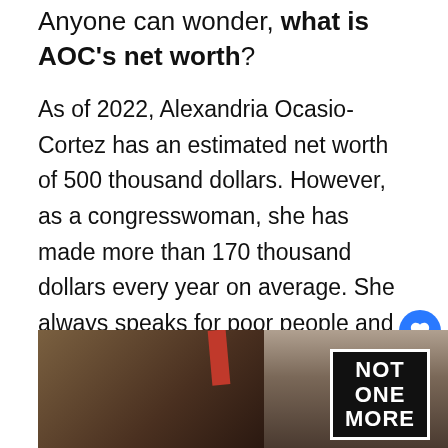Anyone can wonder, what is AOC's net worth?
As of 2022, Alexandria Ocasio-Cortez has an estimated net worth of 500 thousand dollars. However, as a congresswoman, she has made more than 170 thousand dollars every year on average. She always speaks for poor people and middle-class families. That is why she was praised for her works.
[Figure (photo): Photo of a person at a rally holding a sign that reads 'NOT ONE MORE']